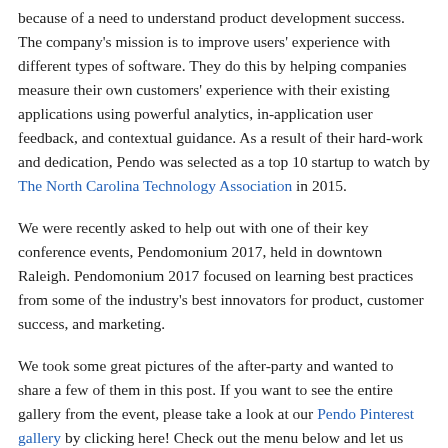because of a need to understand product development success. The company's mission is to improve users' experience with different types of software. They do this by helping companies measure their own customers' experience with their existing applications using powerful analytics, in-application user feedback, and contextual guidance. As a result of their hard-work and dedication, Pendo was selected as a top 10 startup to watch by The North Carolina Technology Association in 2015.
We were recently asked to help out with one of their key conference events, Pendomonium 2017, held in downtown Raleigh. Pendomonium 2017 focused on learning best practices from some of the industry's best innovators for product, customer success, and marketing.
We took some great pictures of the after-party and wanted to share a few of them in this post. If you want to see the entire gallery from the event, please take a look at our Pendo Pinterest gallery by clicking here! Check out the menu below and let us know in the comments which items you'd like to try at your next event.